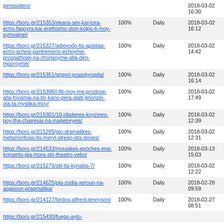| URL | Priority | Change Frequency | Last Modified |
| --- | --- | --- | --- |
| https://boro.gr/...perissotero/ | 100% | Daily | 2018-03-02 16:30 |
| https://boro.gr/215353/ekana-sex-kai-tora-echo-fagoyra-kai-erethismo-ston-kolpo-ti-moy-symvainei/ | 100% | Daily | 2018-03-02 16:12 |
| https://boro.gr/215327/adiexodo-tis-apistias-echo-schesi-pantremeno-echoyme-prospathisei-na-chorisoyme-alla-den-mporoyme/ | 100% | Daily | 2018-03-02 14:42 |
| https://boro.gr/215351/grigori-prasotyropita/ | 100% | Daily | 2018-03-02 16:14 |
| https://boro.gr/215396/i-fili-moy-me-prodose-alla-fovamai-na-tin-kano-pera-giati-gnorizei-ola-ta-mystika-moy/ | 100% | Daily | 2018-03-02 17:49 |
| https://boro.gr/215301/10-idiaiteres-koyzines-poy-tha-chairesai-na-mageireyeis/ | 100% | Daily | 2018-03-02 12:39 |
| https://boro.gr/215285/pio-dramatikes-metamorfosis-tis-meryl-streep-stis-tenies/ | 100% | Daily | 2018-03-02 12:31 |
| https://boro.gr/214533/mousikes-epoches-ena-konserto-gia-mora-sto-theatro-vebo/ | 100% | Daily | 2018-03-13 15:03 |
| https://boro.gr/215276/stil-tis-kyriakis-7/ | 100% | Daily | 2018-03-02 12:22 |
| https://boro.gr/214625/pia-zodia-xeroun-na-agapoun-pragmatika/ | 100% | Daily | 2018-02-28 09:59 |
| https://boro.gr/214127/lordos-alfrent-tennyson/ | 100% | Daily | 2018-02-27 08:51 |
| https://boro.gr/215430/fuego-ayto-... | 100% | Daily |  |